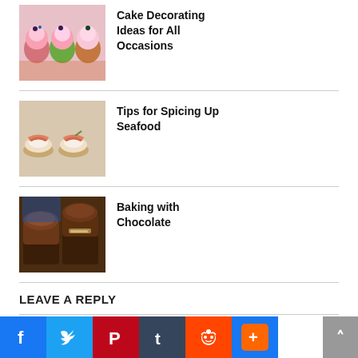[Figure (photo): Colorful decorated cupcakes with frosting and berries]
Cake Decorating Ideas for All Occasions
[Figure (photo): Salmon canapes on small toast rounds with cream and garnish]
Tips for Spicing Up Seafood
[Figure (photo): Dark chocolate baked goods with chocolate frosting]
Baking with Chocolate
LEAVE A REPLY
Your email address will not be published. Required fields are marked (required)
Name: required